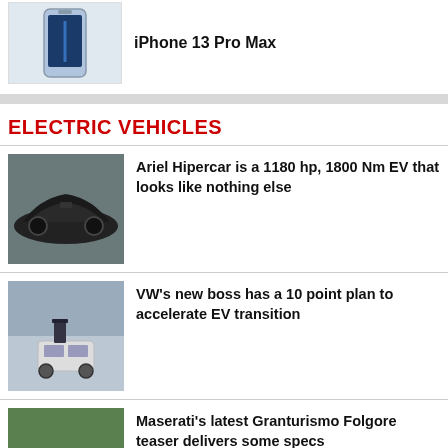[Figure (photo): iPhone 13 Pro Max product image on gray background]
iPhone 13 Pro Max
ELECTRIC VEHICLES
[Figure (photo): Ariel Hipercar black electric hypercar on a parking lot]
Ariel Hipercar is a 1180 hp, 1800 Nm EV that looks like nothing else
[Figure (photo): VW new boss standing in front of a white Porsche Macan in a factory]
VW's new boss has a 10 point plan to accelerate EV transition
[Figure (photo): Red Maserati Granturismo Folgore front quarter view]
Maserati's latest Granturismo Folgore teaser delivers some specs